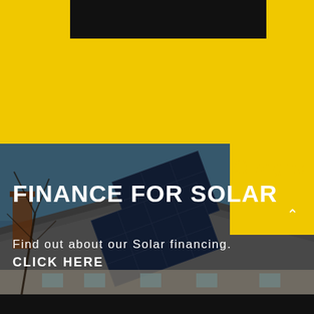[Figure (photo): Photograph of a house rooftop with solar panels installed, set against a blue sky background. Yellow geometric shapes (rectangles) overlay the top portion of the image as design elements. A Brighte logo with a stylized light bulb icon and the word 'brighte' in yellow appears on a yellow rectangle in the upper right area of the image.]
FINANCE FOR SOLAR
Find out about our Solar financing. CLICK HERE